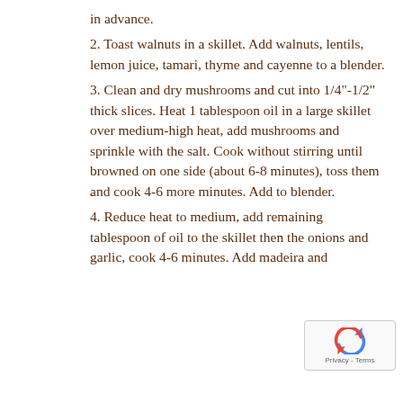in advance.
2. Toast walnuts in a skillet. Add walnuts, lentils, lemon juice, tamari, thyme and cayenne to a blender.
3. Clean and dry mushrooms and cut into 1/4"-1/2" thick slices. Heat 1 tablespoon oil in a large skillet over medium-high heat, add mushrooms and sprinkle with the salt. Cook without stirring until browned on one side (about 6-8 minutes), toss them and cook 4-6 more minutes. Add to blender.
4. Reduce heat to medium, add remaining tablespoon of oil to the skillet then the onions and garlic, cook 4-6 minutes. Add madeira and